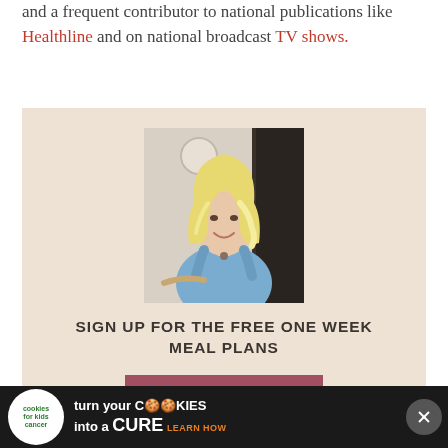and a frequent contributor to national publications like Healthline and on national broadcast TV shows.
[Figure (photo): Portrait photo of a blonde woman wearing a blue sleeveless top, smiling, with a light background.]
SIGN UP FOR THE FREE ONE WEEK MEAL PLANS
SIGN ME UP!
[Figure (infographic): Advertisement banner: cookies for kids cancer - turn your COOKIES into a CURE LEARN HOW]